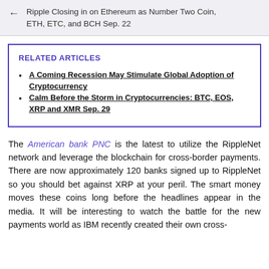← Ripple Closing in on Ethereum as Number Two Coin, ETH, ETC, and BCH Sep. 22
RELATED ARTICLES
A Coming Recession May Stimulate Global Adoption of Cryptocurrency
Calm Before the Storm in Cryptocurrencies: BTC, EOS, XRP and XMR Sep. 29
The American bank PNC is the latest to utilize the RippleNet network and leverage the blockchain for cross-border payments. There are now approximately 120 banks signed up to RippleNet so you should bet against XRP at your peril. The smart money moves these coins long before the headlines appear in the media. It will be interesting to watch the battle for the new payments world as IBM recently created their own cross-